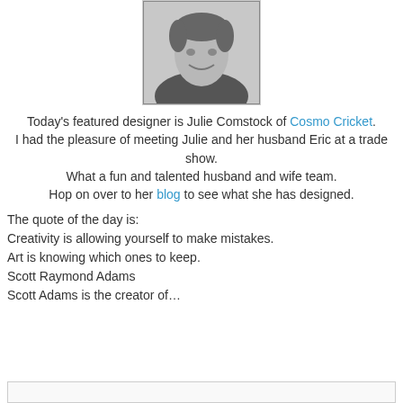[Figure (photo): Black and white headshot of Julie Comstock, a woman with short hair, smiling.]
Today's featured designer is Julie Comstock of Cosmo Cricket. I had the pleasure of meeting Julie and her husband Eric at a trade show. What a fun and talented husband and wife team. Hop on over to her blog to see what she has designed.
The quote of the day is:
Creativity is allowing yourself to make mistakes.
Art is knowing which ones to keep.
Scott Raymond Adams
Scott Adams is the creator of…